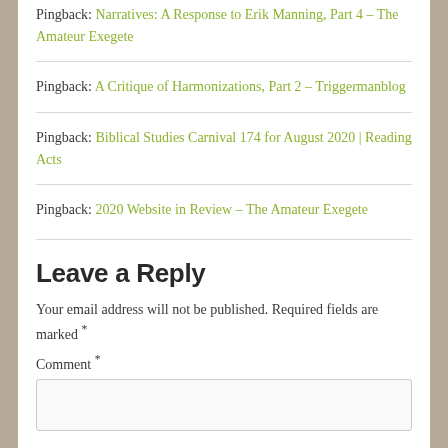Pingback: Narratives: A Response to Erik Manning, Part 4 – The Amateur Exegete
Pingback: A Critique of Harmonizations, Part 2 – Triggermanblog
Pingback: Biblical Studies Carnival 174 for August 2020 | Reading Acts
Pingback: 2020 Website in Review – The Amateur Exegete
Leave a Reply
Your email address will not be published. Required fields are marked *
Comment *